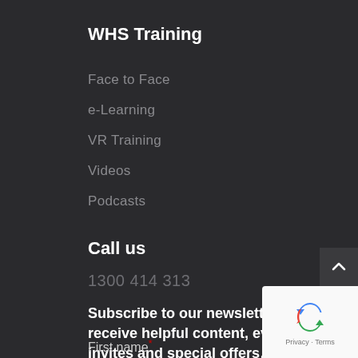WHS Training
Face to Face
e-Learning
VR Training
Videos
Podcasts
Call us
1300 414 313
Subscribe to our newsletter to receive helpful content, event invites and special offers…
First name *